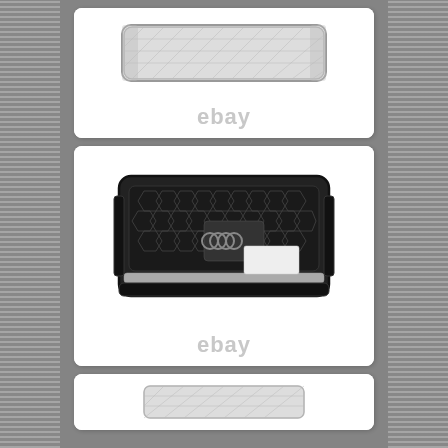[Figure (photo): Top card showing a car front grille (chrome/silver honeycomb style) on white background with eBay watermark]
[Figure (photo): Middle card showing a black honeycomb RS-style Audi front grille with four rings logo cutout, on white background with eBay watermark]
[Figure (photo): Bottom partial card showing another car grille product on white background, partially visible]